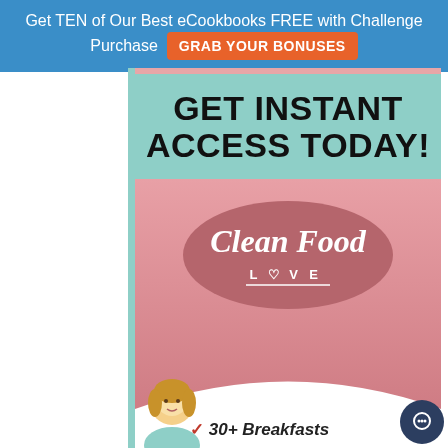Get TEN of Our Best eCookbooks FREE with Challenge Purchase  GRAB YOUR BONUSES
GET INSTANT ACCESS TODAY!
[Figure (logo): Clean Food Love oval logo with script text 'Clean Food' and 'LOVE' with a heart symbol, on a mauve/pink oval, pink wood-grain background]
30+ Breakfasts
30+ Lunches
30+ Dinners